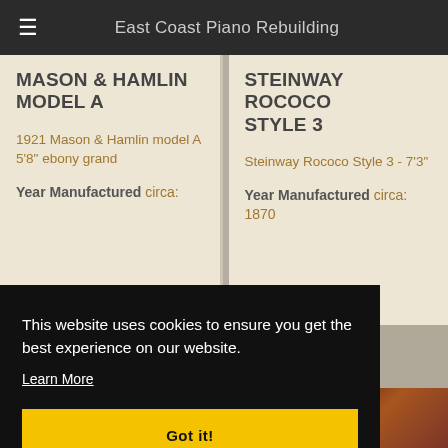East Coast Piano Rebuilding
MASON & HAMLIN MODEL A
1921 Mason & Hamlin model A 5'8" ebony grand
Year Manufactured circa:
STEINWAY ROCOCO STYLE 3
Steinway Rococo Style 3 - 7'3"
Year Manufactured circa: 1870
This website uses cookies to ensure you get the best experience on our website.
Learn More
Got it!